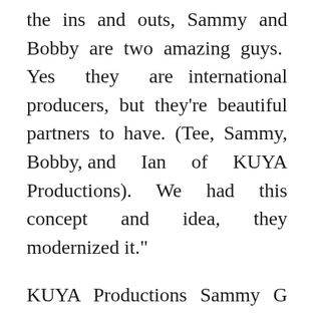the ins and outs, Sammy and Bobby are two amazing guys. Yes they are international producers, but they're beautiful partners to have. (Tee, Sammy, Bobby, and Ian of KUYA Productions). We had this concept and idea, they modernized it."
KUYA Productions Sammy G adds "We weren't really presented with the opportunity before, what's great is that they're